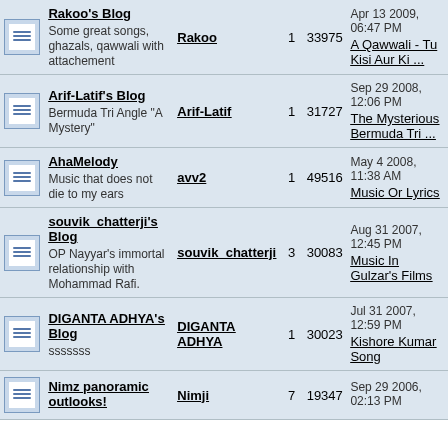|  | Blog | Author | Posts | Views | Last Post |
| --- | --- | --- | --- | --- | --- |
| [icon] | Rakoo's Blog
Some great songs, ghazals, qawwali with attachement | Rakoo | 1 | 33975 | Apr 13 2009, 06:47 PM
A Qawwali - Tu Kisi Aur Ki ... |
| [icon] | Arif-Latif's Blog
Bermuda Tri Angle "A Mystery" | Arif-Latif | 1 | 31727 | Sep 29 2008, 12:06 PM
The Mysterious Bermuda Tri ... |
| [icon] | AhaMelody
Music that does not die to my ears | avv2 | 1 | 49516 | May 4 2008, 11:38 AM
Music Or Lyrics |
| [icon] | souvik_chatterji's Blog
OP Nayyar's immortal relationship with Mohammad Rafi. | souvik_chatterji | 3 | 30083 | Aug 31 2007, 12:45 PM
Music In Gulzar's Films |
| [icon] | DIGANTA ADHYA's Blog
sssssss | DIGANTA ADHYA | 1 | 30023 | Jul 31 2007, 12:59 PM
Kishore Kumar Song |
| [icon] | Nimz panoramic outlooks! | Nimji | 7 | 19347 | Sep 29 2006, 02:13 PM |